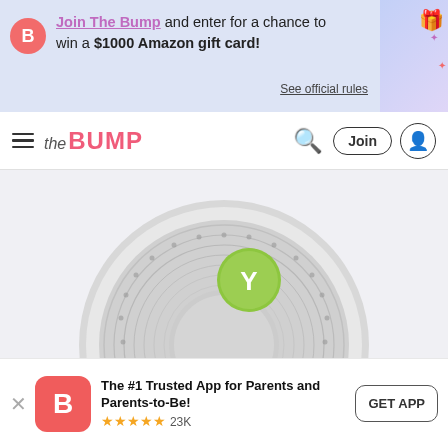Join The Bump and enter for a chance to win a $1000 Amazon gift card! See official rules
the BUMP — navigation bar with search, Join button, user icon
[Figure (photo): Yogasleep Hushh compact white round sound machine with green Y logo button on top, viewed from above, on light gray background. Number badge '2' overlaid at bottom center.]
Image: Courtesy Yogasleep
Yogasleep Hushh Compact Sound
The #1 Trusted App for Parents and Parents-to-Be! ★★★★★ 23K  GET APP